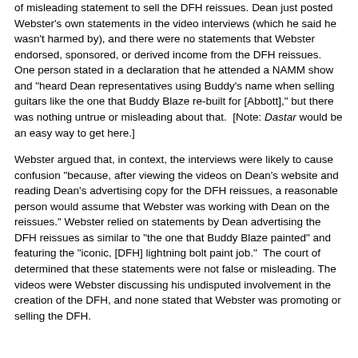of misleading statement to sell the DFH reissues. Dean just posted Webster's own statements in the video interviews (which he said he wasn't harmed by), and there were no statements that Webster endorsed, sponsored, or derived income from the DFH reissues. One person stated in a declaration that he attended a NAMM show and "heard Dean representatives using Buddy's name when selling guitars like the one that Buddy Blaze re-built for [Abbott]," but there was nothing untrue or misleading about that.  [Note: Dastar would be an easy way to get here.]
Webster argued that, in context, the interviews were likely to cause confusion "because, after viewing the videos on Dean's website and reading Dean's advertising copy for the DFH reissues, a reasonable person would assume that Webster was working with Dean on the reissues." Webster relied on statements by Dean advertising the DFH reissues as similar to "the one that Buddy Blaze painted" and featuring the "iconic, [DFH] lightning bolt paint job."  The court of determined that these statements were not false or misleading. The videos were Webster discussing his undisputed involvement in the creation of the DFH, and none stated that Webster was promoting or selling the DFH.